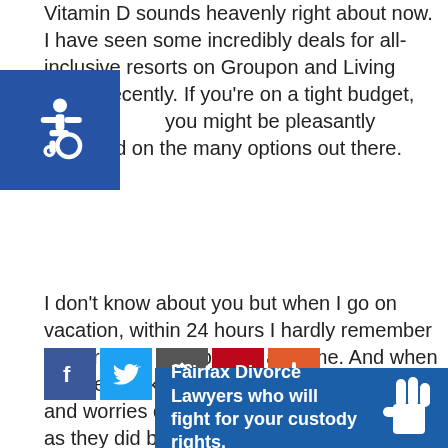Vitamin D sounds heavenly right about now. I have seen some incredibly deals for all-inclusive resorts on Groupon and Living Social recently. If you're on a tight budget, I you might be pleasantly surprised on the many options out there.
[Figure (logo): Blue accessibility icon with wheelchair symbol in white]
I don't know about you but when I go on vacation, within 24 hours I hardly remember the stresses I left behind at home. And when I do get back to my old life, those stresses and worries don't seem quite as important as they did before I left. It's why divorce and vacation should go hand-in-hand. The tougher the divorce, the greater the need for a get-away. Your sanity just may depend on it.
[Figure (infographic): Social sharing buttons: Facebook (blue), Twitter (blue), a sharing icon (dark gray), Pinterest (red), and a plus/add button (orange-red)]
[Figure (infographic): Advertisement banner: blue background with white text reading 'Fairfax Divorce Lawyers who will fight for your custody rights.' with a white hand/custody icon on the right]